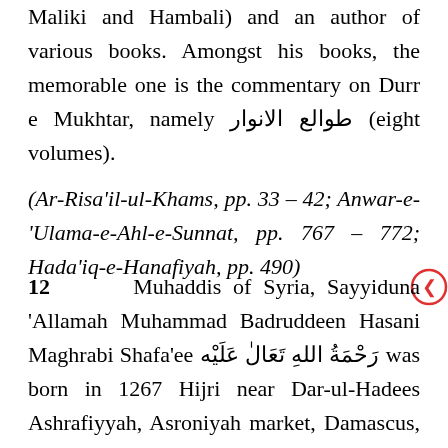Maliki and Hambali) and an author of various books. Amongst his books, the memorable one is the commentary on Durr e Mukhtar, namely طوالع الانوار (eight volumes).
(Ar-Risa'il-ul-Khams, pp. 33 – 42; Anwar-e-'Ulama-e-Ahl-e-Sunnat, pp. 767 – 772; Hada'iq-e-Hanafiyah, pp. 490)
12     Muhaddis of Syria, Sayyiduna 'Allamah Muhammad Badruddeen Hasani Maghrabi Shafa'ee رَحْمَةُ اللهِ تَعَالٰ عَلَيْه was born in 1267 Hijri near Dar-ul-Hadees Ashrafiyyah, Asroniyah market, Damascus, Syria; he